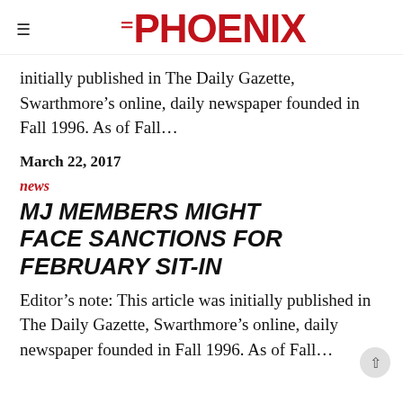THE PHOENIX
initially published in The Daily Gazette, Swarthmore’s online, daily newspaper founded in Fall 1996. As of Fall…
March 22, 2017
news
MJ MEMBERS MIGHT FACE SANCTIONS FOR FEBRUARY SIT-IN
Editor’s note: This article was initially published in The Daily Gazette, Swarthmore’s online, daily newspaper founded in Fall 1996. As of Fall…